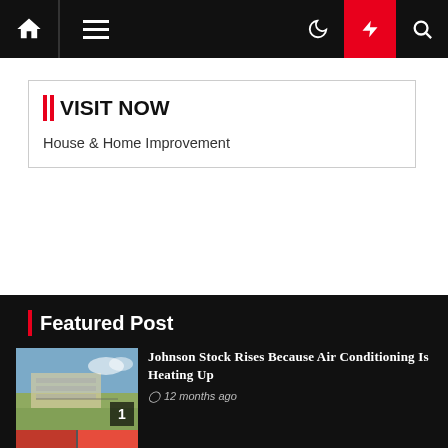Navigation bar with home, menu, moon, bolt, search icons
|| VISIT NOW
House & Home Improvement
Featured Post
Johnson Stock Rises Because Air Conditioning Is Heating Up
12 months ago
Heat pump buying guide: Everything you need to know about this furnac…
12 months ago